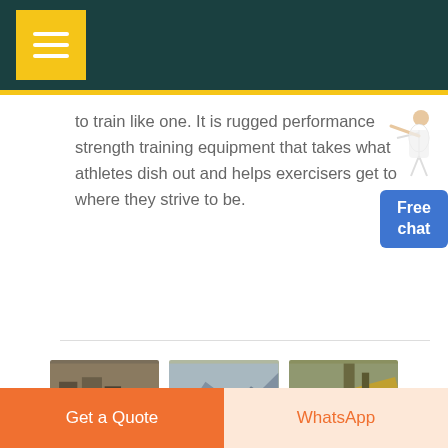[Figure (screenshot): Dark teal website header with yellow square hamburger menu button containing three white horizontal lines]
to train like one. It is rugged performance strength training equipment that takes what athletes dish out and helps exercisers get to where they strive to be.
[Figure (illustration): Free chat widget with a woman figure pointing and a blue box labeled 'Free chat']
[Figure (other): Yellow rounded button labeled GET PRICE]
[Figure (photo): Three industrial/equipment photos in a row at the bottom of the content area]
Get a Quote   WhatsApp